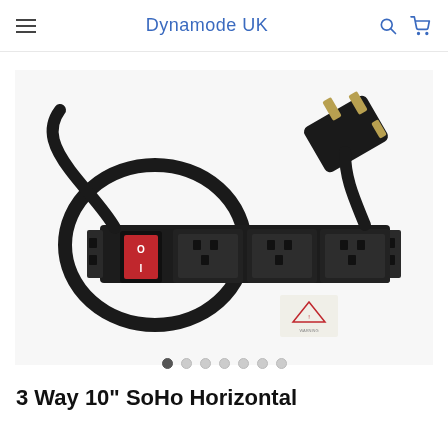Dynamode UK
[Figure (photo): A black 3-way 10-inch SoHo horizontal rack-mount power distribution unit (PDU) with a red on/off rocker switch, three UK BS1363 sockets, rack mounting ears, and a black power cable with a UK 3-pin plug. A small warning label is visible near the unit. The product is photographed on a white background.]
3 Way 10" SoHo Horizontal